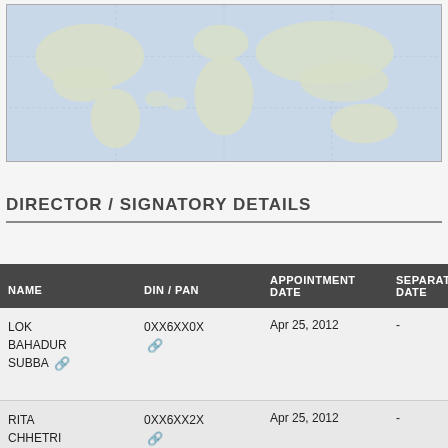[Figure (map): World map background showing continents in light greenish-grey on a blue-grey ocean background]
DIRECTOR / SIGNATORY DETAILS
| NAME | DIN / PAN | APPOINTMENT DATE | SEPARATION DATE |  |
| --- | --- | --- | --- | --- |
| LOK BAHADUR SUBBA | 0XX6XX0X | Apr 25, 2012 | - | V D D |
| RITA CHHETRI | 0XX6XX2X | Apr 25, 2012 | - | V D |